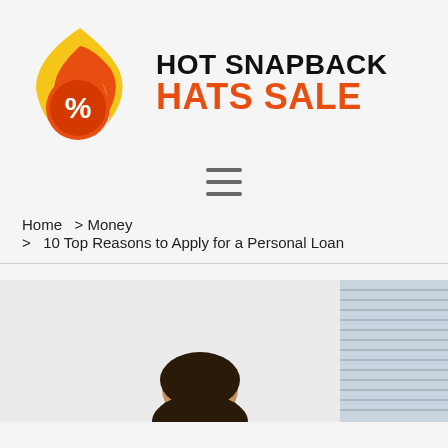[Figure (logo): Hot Snapback Hats Sale logo with flame and percent sign icon]
HOT SNAPBACK HATS SALE
[Figure (other): Hamburger menu icon (three horizontal lines)]
Home  > Money
  >  10 Top Reasons to Apply for a Personal Loan
[Figure (photo): Photo of a person (partially visible, head and shoulders) in an office setting with window blinds in background]